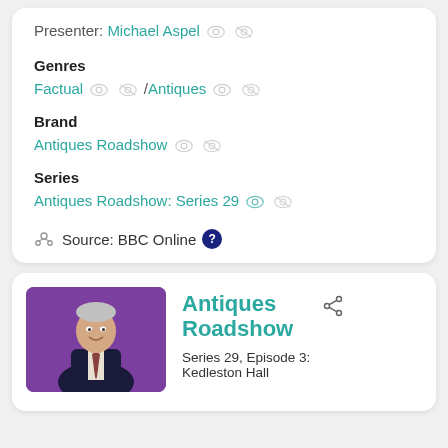Presenter: Michael Aspel
Genres
Factual / Antiques
Brand
Antiques Roadshow
Series
Antiques Roadshow: Series 29
Source: BBC Online
[Figure (photo): Photo of a smiling older man with grey hair, wearing a dark suit, against a purple background]
Antiques Roadshow
Series 29, Episode 3: Kedleston Hall